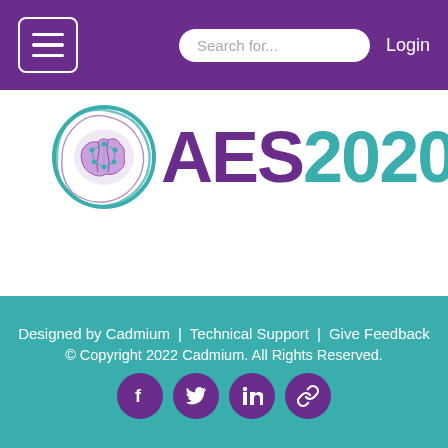AES2020 navigation bar with hamburger menu, search, and login
[Figure (logo): AES2020 logo with circular brain/network icon in teal and purple, text 'AES2020' in purple and teal]
in support of this abstract.: This study has been funded by the Pediatric Epilepsy Research Foundation (PERF).
Designed by Cadmium | Technical Support | Give Feedback © Copyright 2022 Cadmium. All Rights Reserved.